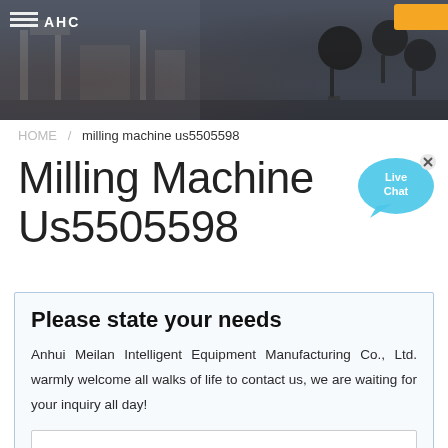[Figure (photo): Factory/manufacturing facility background photo with microphones visible on the right side, dark overlay. Orange button in top right corner and white logo/text in top left.]
HOME / milling machine us5505598
Milling Machine Us5505598
Please state your needs
Anhui Meilan Intelligent Equipment Manufacturing Co., Ltd. warmly welcome all walks of life to contact us, we are waiting for your inquiry all day!